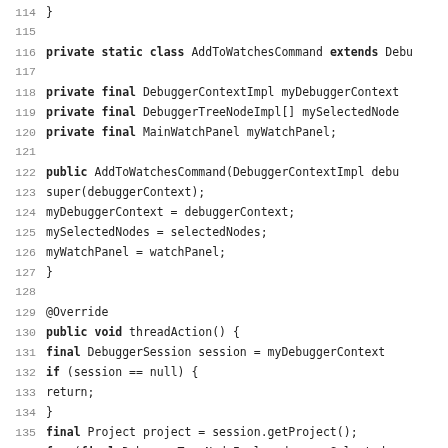Source code listing lines 114-146, Java class AddToWatchesCommand with fields, constructor, and threadAction method override.